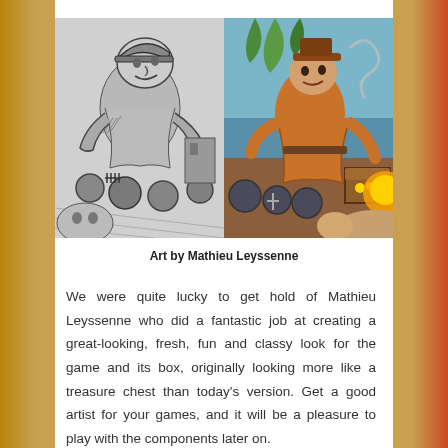[Figure (illustration): Two side-by-side illustrations: left is a black-and-white pencil sketch of a pirate/cartoon character with cannonballs and a treasure scene; right is a full-color version of a similar pirate scene with vivid colors including blues, browns, and oranges, featuring a pirate character with cannonballs and a treasure chest.]
Art by Mathieu Leyssenne
We were quite lucky to get hold of Mathieu Leyssenne who did a fantastic job at creating a great-looking, fresh, fun and classy look for the game and its box, originally looking more like a treasure chest than today's version. Get a good artist for your games, and it will be a pleasure to play with the components later on.